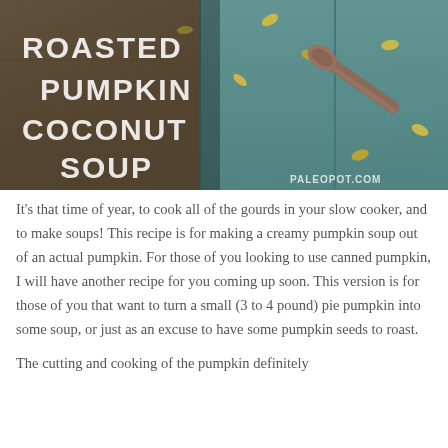[Figure (photo): Photo of a rustic wooden surface with pumpkin seeds scattered around and a vintage spoon, overlaid with white text reading 'ROASTED PUMPKIN COCONUT SOUP' and watermark 'PALEOPOT.COM' in bottom right corner.]
It's that time of year, to cook all of the gourds in your slow cooker, and to make soups! This recipe is for making a creamy pumpkin soup out of an actual pumpkin. For those of you looking to use canned pumpkin, I will have another recipe for you coming up soon. This version is for those of you that want to turn a small (3 to 4 pound) pie pumpkin into some soup, or just as an excuse to have some pumpkin seeds to roast.
The cutting and cooking of the pumpkin definitely